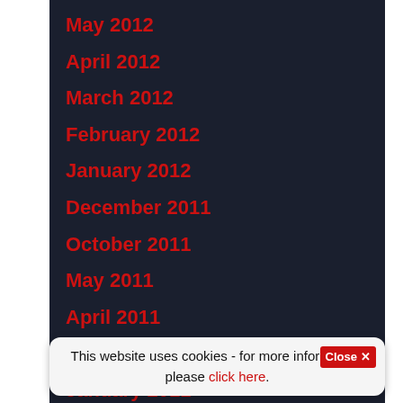May 2012
April 2012
March 2012
February 2012
January 2012
December 2011
October 2011
May 2011
April 2011
March 2011
January 2011
December 2010
August 2010
July 2010
This website uses cookies - for more information, please click here.